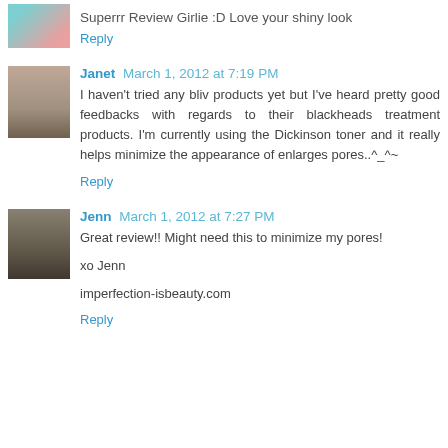Superrr Review Girlie :D Love your shiny look
Reply
Janet March 1, 2012 at 7:19 PM
I haven't tried any bliv products yet but I've heard pretty good feedbacks with regards to their blackheads treatment products. I'm currently using the Dickinson toner and it really helps minimize the appearance of enlarges pores..^_^~
Reply
Jenn March 1, 2012 at 7:27 PM
Great review!! Might need this to minimize my pores!

xo Jenn

imperfection-isbeauty.com
Reply